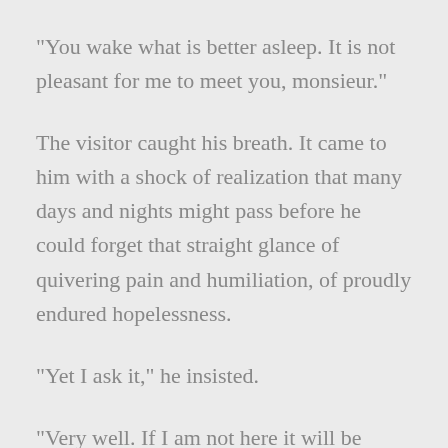"You wake what is better asleep. It is not pleasant for me to meet you, monsieur."
The visitor caught his breath. It came to him with a shock of realization that many days and nights might pass before he could forget that straight glance of quivering pain and humiliation, of proudly endured hopelessness.
"Yet I ask it," he insisted.
"Very well. If I am not here it will be because it